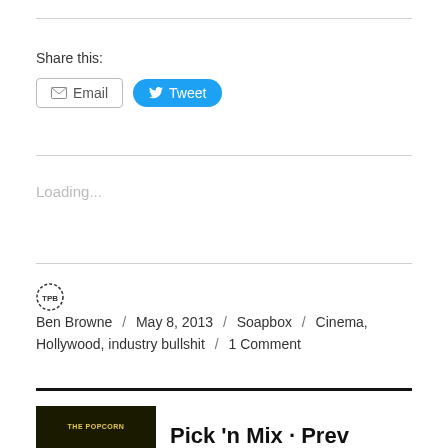Share this:
Email   Tweet
Loading...
Ben Browne / May 8, 2013 / Soapbox / Cinema, Hollywood, industry bullshit / 1 Comment
Pick 'n Mix · Prev